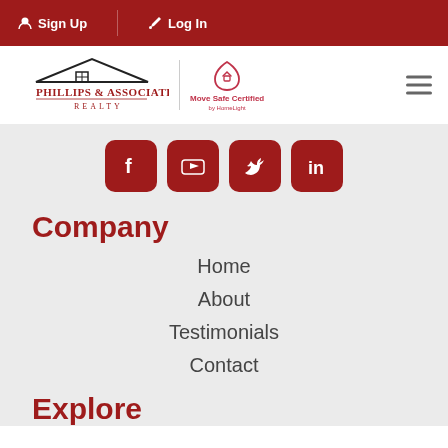Sign Up | Log In
[Figure (logo): Phillips & Associates Realty logo with Move Safe Certified badge and hamburger menu]
[Figure (infographic): Social media icons: Facebook, YouTube, Twitter, LinkedIn]
Company
Home
About
Testimonials
Contact
Explore